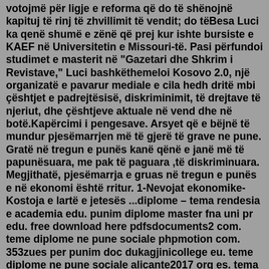votojmë për ligje e reforma që do të shënojnë kapituj të rinj të zhvillimit të vendit; do tëBesa Luci ka qenë shumë e zënë që prej kur ishte bursiste e KAEF në Universitetin e Missouri-të. Pasi përfundoi studimet e masterit në "Gazetari dhe Shkrim i Revistave," Luci bashkëthemeloi Kosovo 2.0, një organizatë e pavarur mediale e cila hedh dritë mbi çështjet e padrejtësisë, diskriminimit, të drejtave të njeriut, dhe çështjeve aktuale në vend dhe në botë.Kapërcimi i pengesave. Arsyet që e bëjnë të mundur pjesëmarrjen më të gjerë të grave ne pune. Gratë në tregun e punës kanë qënë e janë më të papunësuara, me pak të paguara ,të diskriminuara. Megjithatë, pjesëmarrja e gruas në tregun e punës e në ekonomi është rritur. 1-Nevojat ekonomike- Kostoja e lartë e jetesës ...diplome – tema rendesia e academia edu. punim diplome master fna uni pr edu. free download here pdfsdocuments2 com. teme diplome ne pune sociale phpmotion com. 353zues per punim doc dukagjinicollege eu. teme diplome ne pune sociale alicante2017 org es. tema